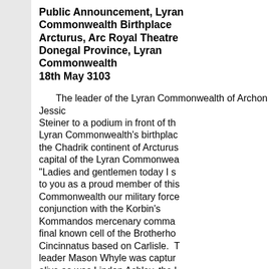Public Announcement, Lyran Commonwealth Birthplace Arcturus, Arc Royal Theatre Donegal Province, Lyran Commonwealth 18th May 3103
The leader of the Lyran Commonwealth of Archon Jessica Steiner to a podium in front of the Lyran Commonwealth's birthplace the Chadrik continent of Arcturus capital of the Lyran Commonwealth. "Ladies and gentlemen today I speak to you as a proud member of this Commonwealth our military forces in conjunction with the Korbin's Kommandos mercenary command final known cell of the Brotherhood of Cincinnatus based on Carlisle. The leader Mason Whyle was captured alive as was Lindon Ashley, the leader of Democracy Now, these threat